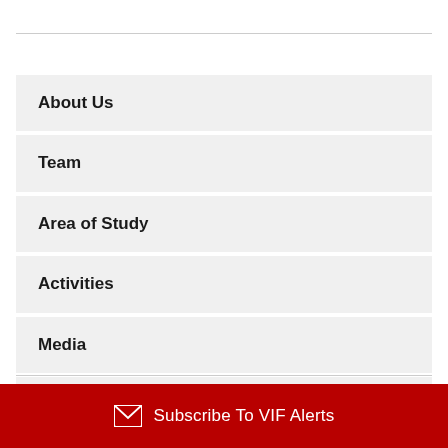About Us
Team
Area of Study
Activities
Media
Publications
Subscribe To VIF Alerts